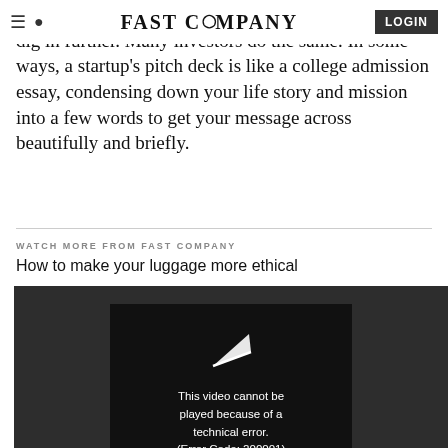FAST COMPANY LOGIN
through of the deck before deciding whether or not to dig in further. Many investors do the same. In some ways, a startup's pitch deck is like a college admission essay, condensing down your life story and mission into a few words to get your message across beautifully and briefly.
WATCH MORE FROM FAST COMPANY
How to make your luggage more ethical
[Figure (screenshot): Video player showing error message: 'This video cannot be played because of a technical error. (Error Code: 200001)' on dark background with a play icon arrow.]